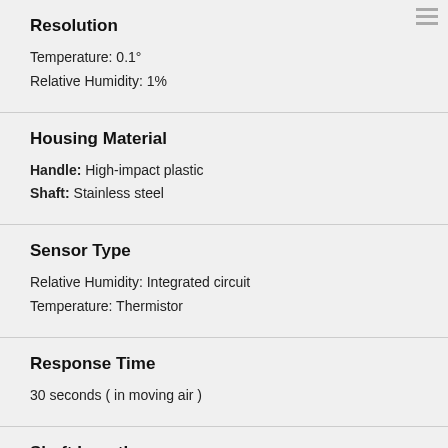Resolution
Temperature: 0.1°
Relative Humidity: 1%
Housing Material
Handle: High-impact plastic
Shaft: Stainless steel
Sensor Type
Relative Humidity: Integrated circuit
Temperature: Thermistor
Response Time
30 seconds ( in moving air )
Shaft Length